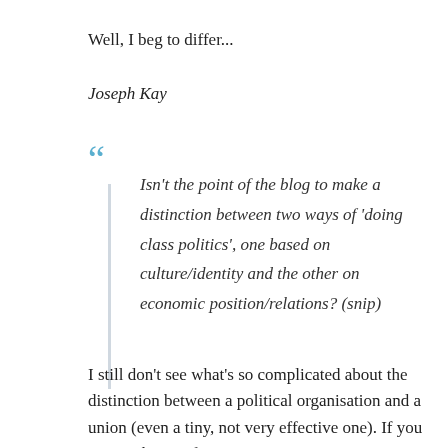Well, I beg to differ...
Joseph Kay
Isn't the point of the blog to make a distinction between two ways of 'doing class politics', one based on culture/identity and the other on economic position/relations? (snip)
I still don't see what's so complicated about the distinction between a political organisation and a union (even a tiny, not very effective one). If you approach any of